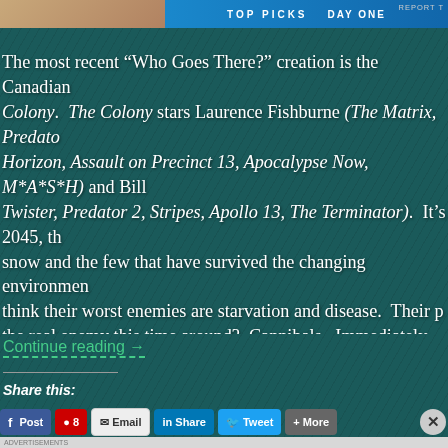[Figure (screenshot): Top navigation bar with blue background showing partial website header with thumbnail image on left]
The most recent “Who Goes There?” creation is the Canadian Colony. The Colony stars Laurence Fishburne (The Matrix, Predator... Horizon, Assault on Precinct 13, Apocalypse Now, M*A*S*H) and Bill... Twister, Predator 2, Stripes, Apollo 13, The Terminator). It’s 2045, the snow and the few that have survived the changing environment think their worst enemies are starvation and disease. Their problem... the real enemy this time around? Cannibals. Immediately we... the 1993 film Alive, based on a real-life disaster in the snow-covered... cannibalism.
Continue reading →
Share this:
[Figure (screenshot): Row of social share buttons: Post (Facebook), Pin (Pinterest), Email, Share (LinkedIn), Tweet (Twitter), More, and a close X button]
[Figure (screenshot): WooCommerce advertisement: Turn your hobby into a business in 8 steps]